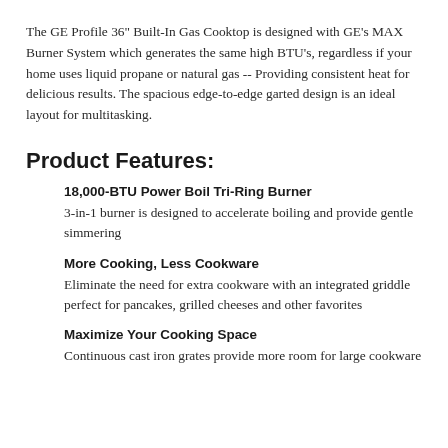The GE Profile 36" Built-In Gas Cooktop is designed with GE's MAX Burner System which generates the same high BTU's, regardless if your home uses liquid propane or natural gas -- Providing consistent heat for delicious results. The spacious edge-to-edge garted design is an ideal layout for multitasking.
Product Features:
18,000-BTU Power Boil Tri-Ring Burner
3-in-1 burner is designed to accelerate boiling and provide gentle simmering
More Cooking, Less Cookware
Eliminate the need for extra cookware with an integrated griddle perfect for pancakes, grilled cheeses and other favorites
Maximize Your Cooking Space
Continuous cast iron grates provide more room for large cookware